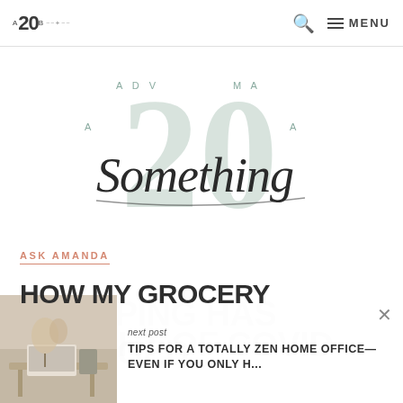A 20 B — MENU
[Figure (logo): Adventuroma 20something cursive script logo in light sage green with decorative circular text arrangement]
ASK AMANDA
HOW MY GROCERY SHOPPING HAS CHANGED IN LIGHT OF COVID
[Figure (photo): Home office desk scene with dried flowers, laptop, and bags in warm tones]
next post
TIPS FOR A TOTALLY ZEN HOME OFFICE—EVEN IF YOU ONLY H...